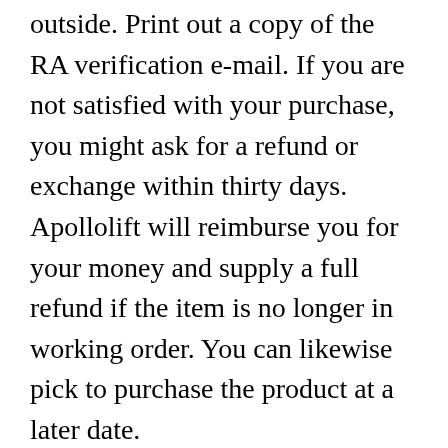outside. Print out a copy of the RA verification e-mail. If you are not satisfied with your purchase, you might ask for a refund or exchange within thirty days. Apollolift will reimburse you for your money and supply a full refund if the item is no longer in working order. You can likewise pick to purchase the product at a later date.